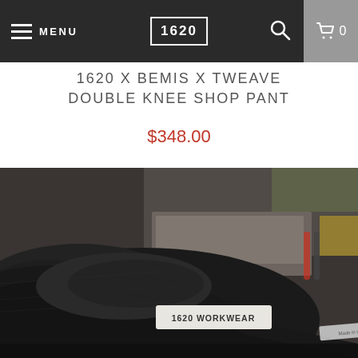MENU | 1620 | Search | Cart 0
1620 X BEMIS X TWEAVE DOUBLE KNEE SHOP PANT
$348.00
[Figure (photo): Close-up photo of dark navy/black workwear pants folded on a workshop surface, showing a '1620 WORKWEAR' label and a 'Made in USA' tag, with tools and metallic surfaces visible in the blurred background.]